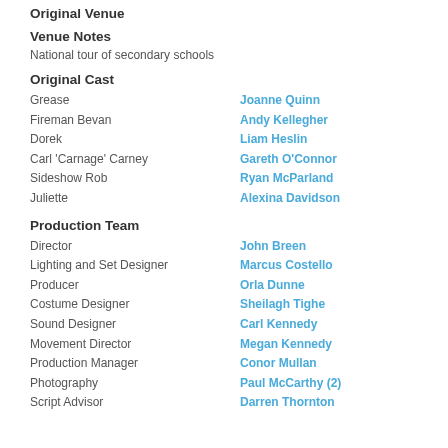Original Venue
Venue Notes
National tour of secondary schools
Original Cast
Grease — Joanne Quinn
Fireman Bevan — Andy Kellegher
Dorek — Liam Heslin
Carl 'Carnage' Carney — Gareth O'Connor
Sideshow Rob — Ryan McParland
Juliette — Alexina Davidson
Production Team
Director — John Breen
Lighting and Set Designer — Marcus Costello
Producer — Orla Dunne
Costume Designer — Sheilagh Tighe
Sound Designer — Carl Kennedy
Movement Director — Megan Kennedy
Production Manager — Conor Mullan
Photography — Paul McCarthy (2)
Script Advisor — Darren Thornton